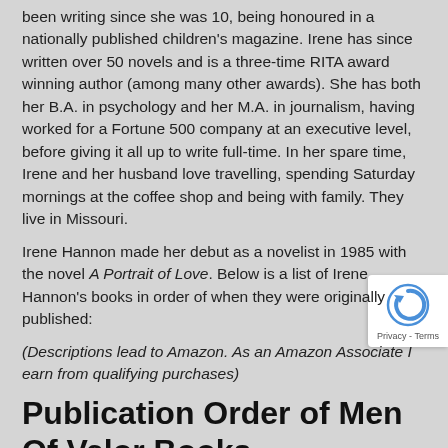been writing since she was 10, being honoured in a nationally published children's magazine. Irene has since written over 50 novels and is a three-time RITA award winning author (among many other awards). She has both her B.A. in psychology and her M.A. in journalism, having worked for a Fortune 500 company at an executive level, before giving it all up to write full-time. In her spare time, Irene and her husband love travelling, spending Saturday mornings at the coffee shop and being with family. They live in Missouri.
Irene Hannon made her debut as a novelist in 1985 with the novel A Portrait of Love. Below is a list of Irene Hannon's books in order of when they were originally published:
(Descriptions lead to Amazon. As an Amazon Associate I earn from qualifying purchases)
Publication Order of Men Of Valor Books
| Title | Year | Link |
| --- | --- | --- |
| Buried Secrets | (2015) | Book at Amazon |
| Thin Ice | (2015) | Book at Amazon |
| Tangled Webs | (2016) | Book at Amazon |